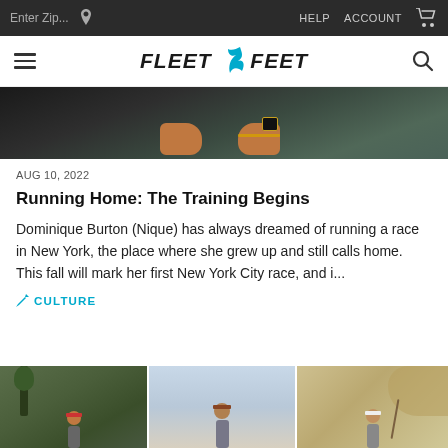Enter Zip...  HELP  ACCOUNT
FLEET FEET
[Figure (photo): Close-up photo of feet/ankles on a dark surface, one ankle wearing a smartwatch with gold band]
AUG 10, 2022
Running Home: The Training Begins
Dominique Burton (Nique) has always dreamed of running a race in New York, the place where she grew up and still calls home. This fall will mark her first New York City race, and i...
CULTURE
[Figure (photo): Three side-by-side photos of runners outdoors in various settings]